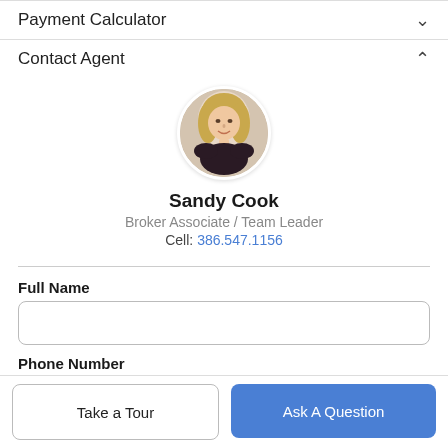Payment Calculator
Contact Agent
[Figure (photo): Circular headshot photo of real estate agent Sandy Cook, a woman with blonde hair, smiling, wearing dark clothing.]
Sandy Cook
Broker Associate / Team Leader
Cell: 386.547.1156
Full Name
Phone Number
Take a Tour
Ask A Question